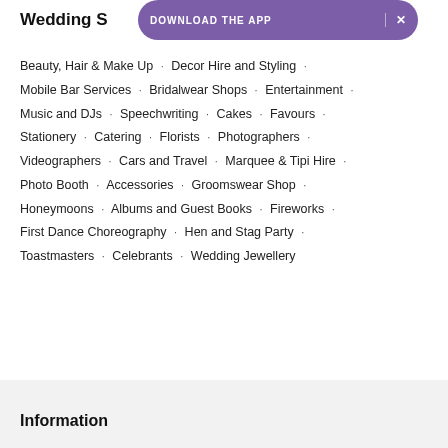Wedding S
[Figure (other): Purple app download banner with text DOWNLOAD THE APP and X close button]
Beauty, Hair & Make Up · Decor Hire and Styling ·
Mobile Bar Services · Bridalwear Shops · Entertainment ·
Music and DJs · Speechwriting · Cakes · Favours ·
Stationery · Catering · Florists · Photographers ·
Videographers · Cars and Travel · Marquee & Tipi Hire ·
Photo Booth · Accessories · Groomswear Shop ·
Honeymoons · Albums and Guest Books · Fireworks ·
First Dance Choreography · Hen and Stag Party ·
Toastmasters · Celebrants · Wedding Jewellery
Information